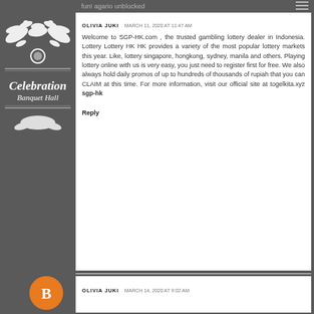fun! agario unblocked
[Figure (logo): Celebration Banquet Hall logo with white doves and decorative text on dark background]
OLIVIA JUKI  MARCH 11, 2020 AT 11:47 AM
Welcome to SGP-HK.com , the trusted gambling lottery dealer in Indonesia. Lottery Lottery HK HK provides a variety of the most popular lottery markets this year. Like, lottery singapore, hongkong, sydney, manila and others. Playing lottery online with us is very easy, you just need to register first for free. We also always hold daily promos of up to hundreds of thousands of rupiah that you can CLAIM at this time. For more information, visit our official site at togelkita.xyz sgp-hk
Reply
[Figure (logo): Orange Blogger avatar icon]
OLIVIA JUKI  MARCH 14, 2020 AT 9:02 AM